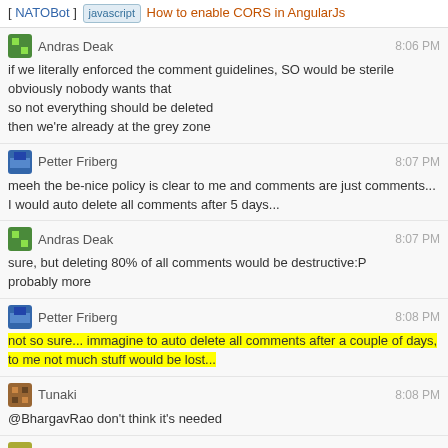[ NATOBot ] javascript How to enable CORS in AngularJs
Andras Deak 8:06 PM
if we literally enforced the comment guidelines, SO would be sterile
obviously nobody wants that
so not everything should be deleted
then we're already at the grey zone
Petter Friberg 8:07 PM
meeh the be-nice policy is clear to me and comments are just comments...
I would auto delete all comments after 5 days...
Andras Deak 8:07 PM
sure, but deleting 80% of all comments would be destructive:P
probably more
Petter Friberg 8:08 PM
not so sure... immagine to auto delete all comments after a couple of days, to me not much stuff would be lost...
Tunaki 8:08 PM
@BhargavRao don't think it's needed
Queen 8:08 PM
[ SOCVFinder ] possible-duplicate php mysql Error PHP> Warning: mysql_query() expects parameter 1 to be string, resource given in C:\xampp\htdocs @bwoebi
Tunaki 8:08 PM